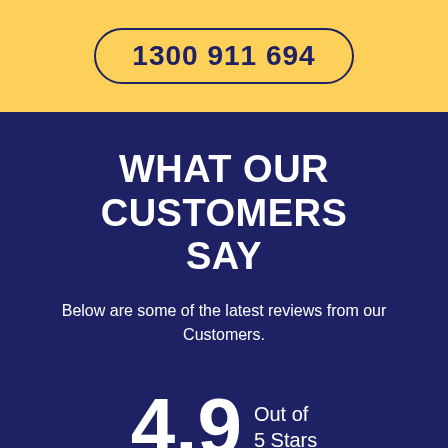1300 911 694
WHAT OUR CUSTOMERS SAY
Below are some of the latest reviews from our Customers.
4.9 Out of 5 Stars